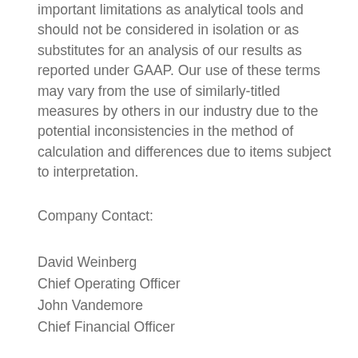important limitations as analytical tools and should not be considered in isolation or as substitutes for an analysis of our results as reported under GAAP. Our use of these terms may vary from the use of similarly-titled measures by others in our industry due to the potential inconsistencies in the method of calculation and differences due to items subject to interpretation.
Company Contact:
David Weinberg
Chief Operating Officer
John Vandemore
Chief Financial Officer